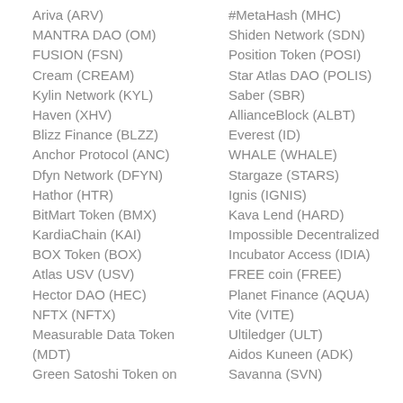Ariva (ARV)
MANTRA DAO (OM)
FUSION (FSN)
Cream (CREAM)
Kylin Network (KYL)
Haven (XHV)
Blizz Finance (BLZZ)
Anchor Protocol (ANC)
Dfyn Network (DFYN)
Hathor (HTR)
BitMart Token (BMX)
KardiaChain (KAI)
BOX Token (BOX)
Atlas USV (USV)
Hector DAO (HEC)
NFTX (NFTX)
Measurable Data Token (MDT)
Green Satoshi Token on
#MetaHash (MHC)
Shiden Network (SDN)
Position Token (POSI)
Star Atlas DAO (POLIS)
Saber (SBR)
AllianceBlock (ALBT)
Everest (ID)
WHALE (WHALE)
Stargaze (STARS)
Ignis (IGNIS)
Kava Lend (HARD)
Impossible Decentralized Incubator Access (IDIA)
FREE coin (FREE)
Planet Finance (AQUA)
Vite (VITE)
Ultiledger (ULT)
Aidos Kuneen (ADK)
Savanna (SVN)